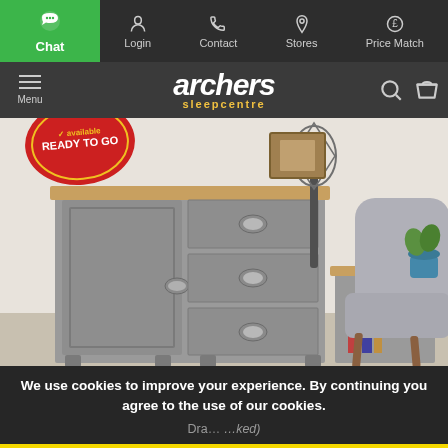Chat | Login | Contact | Stores | Price Match
[Figure (logo): Archers Sleepcentre logo with menu, search and basket icons on dark navigation bar]
[Figure (photo): Grey painted sideboard/chest of drawers with oak top, featuring one door and three drawers with silver handles, styled in a living room setting with a grey armchair and lamp. 'Ready to Go' badge in top left corner.]
We use cookies to improve your experience. By continuing you agree to the use of our cookies.
Dra... (product name partially visible) ...ked)
ACCEPT AND CLOSE